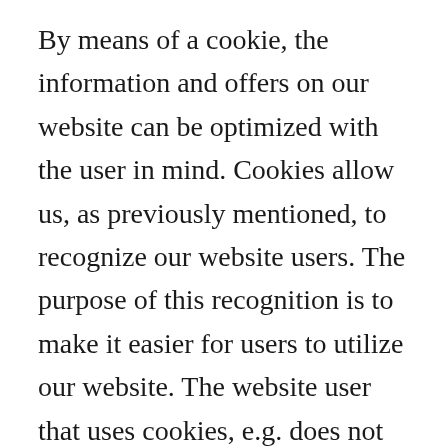By means of a cookie, the information and offers on our website can be optimized with the user in mind. Cookies allow us, as previously mentioned, to recognize our website users. The purpose of this recognition is to make it easier for users to utilize our website. The website user that uses cookies, e.g. does not have to enter access data each time the website is accessed, because this is taken over by the website, and the cookie is thus stored on the user's computer system. Another